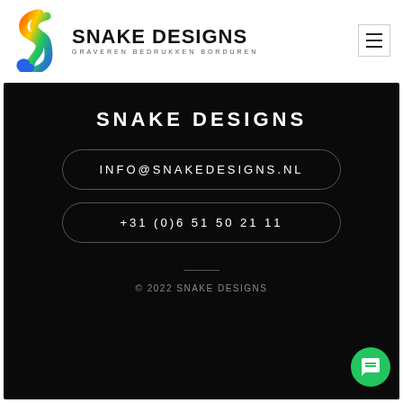[Figure (logo): Snake Designs logo with colorful snake icon and bold text 'SNAKE DESIGNS' with subtitle 'GRAVEREN BEDRUKKEN BORDUREN']
SNAKE DESIGNS
INFO@SNAKEDESIGNS.NL
+31 (0)6 51 50 21 11
© 2022 SNAKE DESIGNS